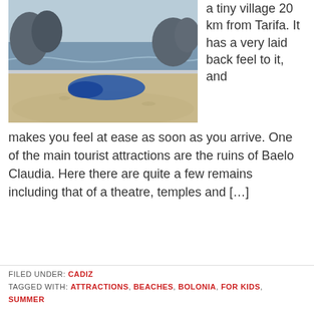[Figure (photo): Beach scene with a blue item (possibly a windsurfer or bag) on sandy beach, rocky cliffs in background, ocean visible]
a tiny village 20 km from Tarifa. It has a very laid back feel to it, and makes you feel at ease as soon as you arrive. One of the main tourist attractions are the ruins of Baelo Claudia. Here there are quite a few remains including that of a theatre, temples and […]
FILED UNDER: CADIZ
TAGGED WITH: ATTRACTIONS, BEACHES, BOLONIA, FOR KIDS, SUMMER